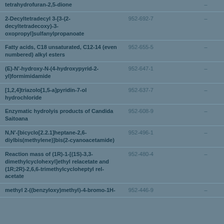| Name | EC Number | CAS |
| --- | --- | --- |
| tetrahydrofuran-2,5-dione |  | – |
| 2-Decyltetradecyl 3-[3-(2-decyltetradecoxy)-3-oxopropyl]sulfanylpropanoate | 952-692-7 | – |
| Fatty acids, C18 unsaturated, C12-14 (even numbered) alkyl esters | 952-655-5 | – |
| (E)-N'-hydroxy-N-(4-hydroxypyrid-2-yl)formimidamide | 952-647-1 | – |
| [1,2,4]triazolo[1,5-a]pyridin-7-ol hydrochloride | 952-637-7 | – |
| Enzymatic hydrolyis products of Candida Saitoana | 952-608-9 | – |
| N,N'-[bicyclo[2.2.1]heptane-2,6-diylbis(methylene)]bis(2-cyanoacetamide) | 952-496-1 | – |
| Reaction mass of (1R)-1-[(1S)-3,3-dimethylcyclohexyl]ethyl relacetate and (1R;2R)-2,6,6-trimethylcycloheptyl rel-acetate | 952-480-4 | – |
| methyl 2-((benzyloxy)methyl)-4-bromo-1H-... | 952-446-9 | – |